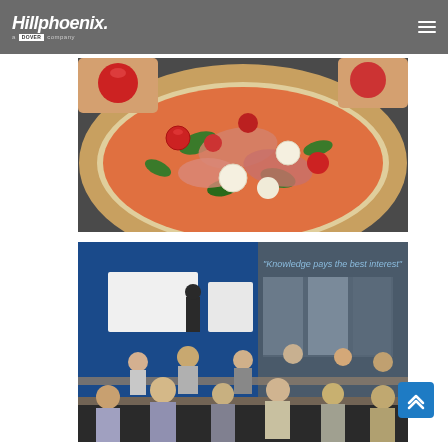Hillphoenix — a Dover company
[Figure (photo): Close-up photo of a fresh artisan pizza on a plate with tomatoes, mozzarella, prosciutto, and basil leaves. Hands visible holding tomatoes in the background.]
[Figure (photo): Interior photo of a conference/training room with blue walls and text mural. A presenter stands at the front near a whiteboard while attendees sit at tables.]